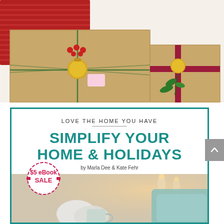[Figure (photo): Overhead view of Christmas gifts wrapped in kraft paper with green twine, gold ornaments, red berries, red ribbon, and evergreen sprigs on a white background with red knit fabric.]
[Figure (illustration): Book cover for 'Simplify Your Home & Holidays' by Marla Dee & Kate Fehr, part of the 'Love the Home You Have' series. Teal border with white header area showing the title in teal bold uppercase text, a '$5 eBook SALE' circular badge in magenta/red, and a cozy lifestyle photo background showing a person in white socks holding a mug near a fireplace.]